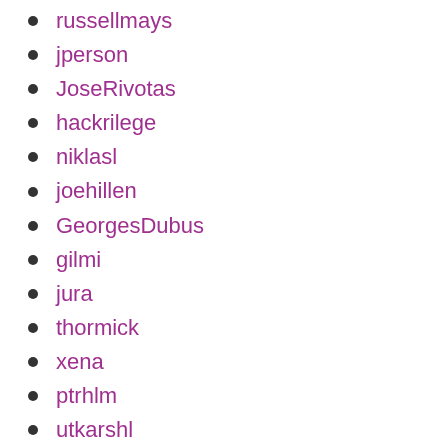russellmays
jperson
JoseRivotas
hackrilege
niklasl
joehillen
GeorgesDubus
gilmi
jura
thormick
xena
ptrhlm
utkarshl
cokleisli
dananji9131
joecrayne
afonsomatos
AndreasSchacker
mmachaon